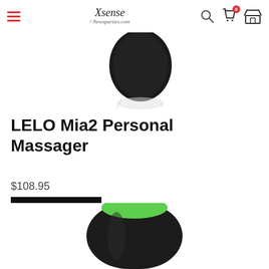Xsense / Newsparties.com
[Figure (photo): Partial view of a black personal massager product, top portion, with reflection on white background]
LELO Mia2 Personal Massager
$108.95
Add to cart
[Figure (photo): Partial view of a dark/black personal massager with green accent tip, bottom portion on white background]